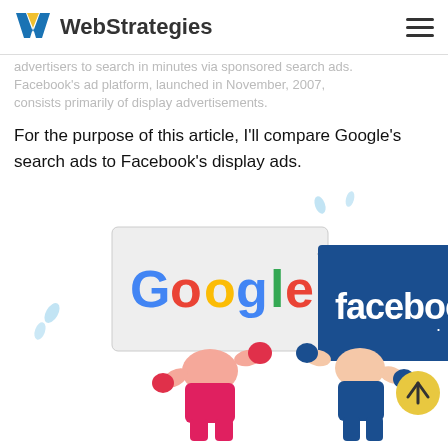WebStrategies
advertisers to search in minutes via sponsored search ads. Facebook's ad platform, launched in November, 2007, consists primarily of display advertisements.
For the purpose of this article, I'll compare Google's search ads to Facebook's display ads.
[Figure (illustration): Illustration of two cartoon boxer characters, one holding a Google logo sign and the other holding a Facebook logo sign, appearing to fight each other. A yellow scroll-to-top button is visible in the lower right.]